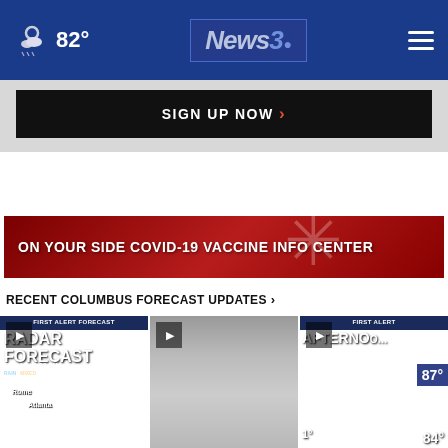News3 — 82°
SIGN UP NOW ›
[Figure (screenshot): Red COVID-19 vaccine info center banner with coronavirus graphic]
RECENT COLUMBUS FORECAST UPDATES ›
[Figure (screenshot): Three video thumbnails: Radar Forecast Friday 2:00PM, fog/rain scene, and Afternoon forecast with 87° temperature]
RADAR FORECAST FRIDAY 2:00 PM
AFTERNOON AVERAGE H 87°